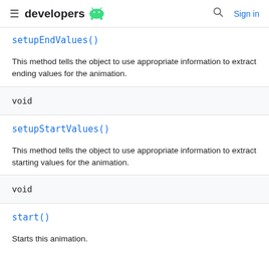developers
setupEndValues()
This method tells the object to use appropriate information to extract ending values for the animation.
void
setupStartValues()
This method tells the object to use appropriate information to extract starting values for the animation.
void
start()
Starts this animation.